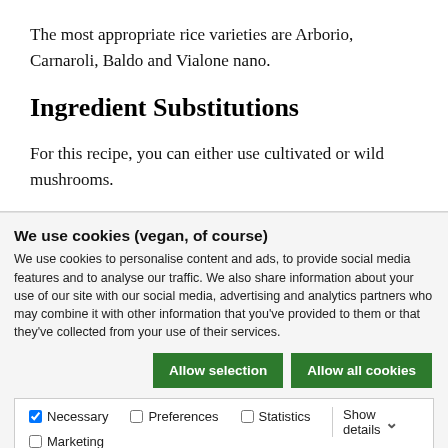The most appropriate rice varieties are Arborio, Carnaroli, Baldo and Vialone nano.
Ingredient Substitutions
For this recipe, you can either use cultivated or wild mushrooms.
We use cookies (vegan, of course)
We use cookies to personalise content and ads, to provide social media features and to analyse our traffic. We also share information about your use of our site with our social media, advertising and analytics partners who may combine it with other information that you've provided to them or that they've collected from your use of their services.
Allow selection | Allow all cookies
Necessary | Preferences | Statistics | Marketing | Show details